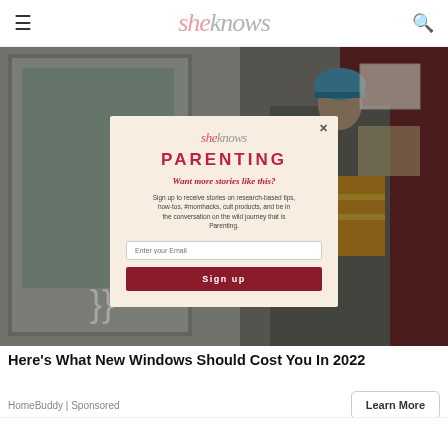sheknows
[Figure (photo): A worker wearing a blue helmet and orange safety vest installing or working on a window/door. A popup modal overlay is visible on top of the image.]
sheknows PARENTING
Want more stories like this?
Sign up to receive stories on research-based tips, how-tos, #momhacks, cult products, and be in the conversation on the wild journey that is Parenting.
Enter your Email
Sign up
Here's What New Windows Should Cost You In 2022
HomeBuddy | Sponsored
Learn More